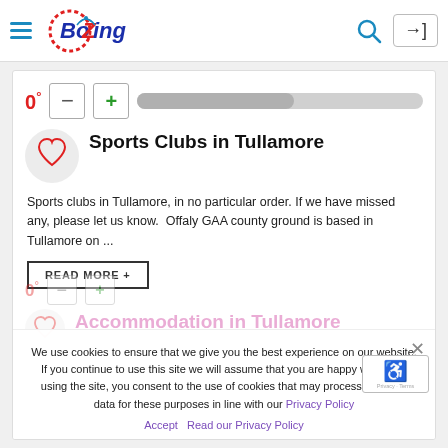BoZing navigation bar with hamburger menu, logo, search icon, and login button
Sports Clubs in Tullamore
Sports clubs in Tullamore, in no particular order. If we have missed any, please let us know.  Offaly GAA county ground is based in Tullamore on ...
READ MORE +
We use cookies to ensure that we give you the best experience on our website. If you continue to use this site we will assume that you are happy with it. By using the site, you consent to the use of cookies that may process personal data for these purposes in line with our Privacy Policy
Accept   Read our Privacy Policy
Accommodation in Tullamore